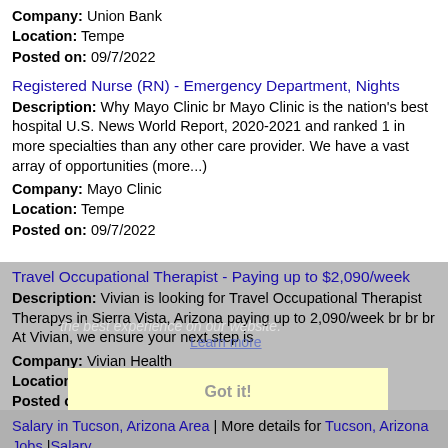Company: Union Bank
Location: Tempe
Posted on: 09/7/2022
Registered Nurse (RN) - Emergency Department, Nights
Description: Why Mayo Clinic br Mayo Clinic is the nation's best hospital U.S. News World Report, 2020-2021 and ranked 1 in more specialties than any other care provider. We have a vast array of opportunities (more...)
Company: Mayo Clinic
Location: Tempe
Posted on: 09/7/2022
Travel Occupational Therapist - Paying up to $2,090/week
Description: Vivian is looking for Travel Occupational Therapist Therapys in Sierra Vista, Arizona paying up to 2,090/week br br br At Vivian, we ensure your next step is
Company: Vivian Health
Location: Sierra Vista
Posted on: 09/7/2022
Salary in Tucson, Arizona Area | More details for Tucson, Arizona Jobs |Salary